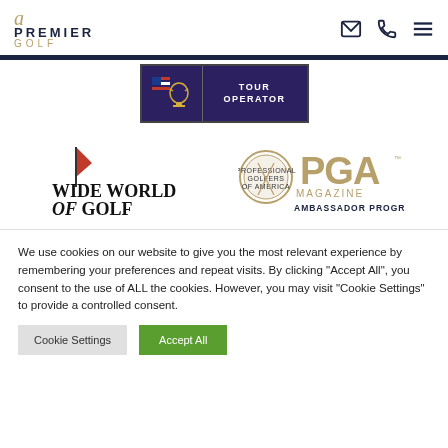[Figure (logo): Premier Golf logo with cursive 'a' script mark above PREMIER GOLF text]
[Figure (logo): Navigation icons: envelope, phone, and hamburger menu]
[Figure (logo): TOUR OPERATOR banner with purple background and flag/trophy emblem]
[Figure (logo): Wide World of Golf logo with red flag]
[Figure (logo): PGA Magazine Ambassador Program logo]
We use cookies on our website to give you the most relevant experience by remembering your preferences and repeat visits. By clicking "Accept All", you consent to the use of ALL the cookies. However, you may visit "Cookie Settings" to provide a controlled consent.
Cookie Settings
Accept All